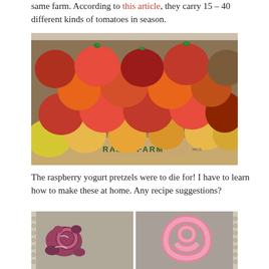same farm. According to this article, they carry 15 – 40 different kinds of tomatoes in season.
[Figure (photo): A large box labeled RAM'S FARM filled with colorful heirloom tomatoes in red, orange, yellow, and green varieties at a farmers market.]
The raspberry yogurt pretzels were to die for! I have to learn how to make these at home. Any recipe suggestions?
[Figure (photo): Two side-by-side photos of raspberry yogurt covered pretzels on a gray background, showing the pretzel shapes coated in pink/purple yogurt.]